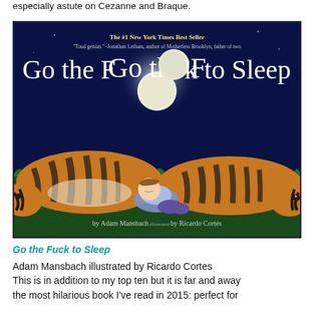especially astute on Cezanne and Braque.
[Figure (photo): Book cover of 'Go the F*ck to Sleep' by Adam Mansbach, illustrated by Ricardo Cortés. Dark blue background with a full moon, a child sleeping between two tigers lying in green grass. Text at top reads 'The #1 New York Times Best Seller' and a quote from Jonathan Letham. Large white title text reads 'Go the F*k to Sleep'. Author and illustrator credits at bottom.]
Go the Fuck to Sleep
Adam Mansbach illustrated by Ricardo Cortes
This is in addition to my top ten but it is far and away the most hilarious book I've read in 2015: perfect for